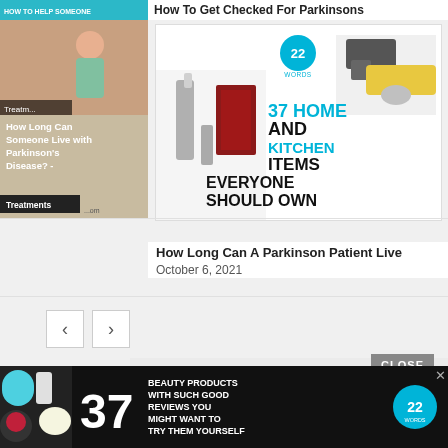How To Get Checked For Parkinsons
[Figure (screenshot): Ad banner: 37 Home and Kitchen Items Everyone Should Own, with kitchen tools imagery and 22Words logo]
How Long Can A Parkinson Patient Live
October 6, 2021
[Figure (screenshot): Left article card: How Long Can Someone Live with Parkinson's Disease - with Treatments label]
[Figure (screenshot): Bottom ad: 37 Beauty Products With Such Good Reviews You Might Want To Try Them Yourself, with 22Words logo and product images]
[Figure (screenshot): Large gray placeholder content area]
37 HOME AND KITCHEN ITEM...
CLOSE